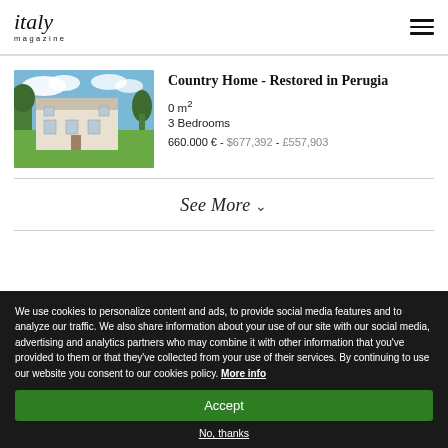italy magazine
[Figure (photo): Exterior photo of a restored Italian country home in Perugia, showing a stone/white rendered farmhouse with green lawn and trees against blue sky with clouds]
Country Home - Restored in Perugia
0 m²
3 Bedrooms
660.000 € - $677,392 - £557,903
See More ∨
We use cookies to personalize content and ads, to provide social media features and to analyze our traffic. We also share information about your use of our site with our social media, advertising and analytics partners who may combine it with other information that you've provided to them or that they've collected from your use of their services. By continuing to use our website you consent to our cookies policy. More info
Accept
No, thanks